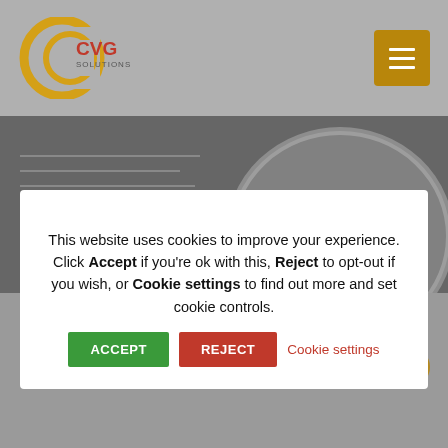[Figure (logo): CVG Solutions circular logo in gold/orange]
[Figure (screenshot): Hamburger menu button in gold/dark yellow]
[Figure (photo): Background hero image showing magnifying glass over text reading 'd as a basis f...']
This website uses cookies to improve your experience. Click Accept if you're ok with this, Reject to opt-out if you wish, or Cookie settings to find out more and set cookie controls.
MARCH 15, 2021
/ GDPR BRIEFINGS, ICO REGULATIONS, SMALL BUSINESS
/ BY CRISTINA VANNINI-GOODCHILD
/ COMMENTS CLOSED